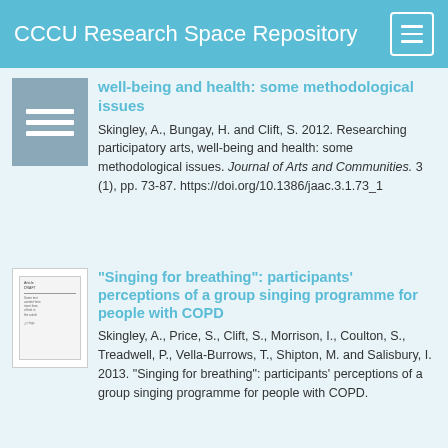CCCU Research Space Repository
well-being and health: some methodological issues
Skingley, A., Bungay, H. and Clift, S. 2012. Researching participatory arts, well-being and health: some methodological issues. Journal of Arts and Communities. 3 (1), pp. 73-87. https://doi.org/10.1386/jaac.3.1.73_1
“Singing for breathing”: participants’ perceptions of a group singing programme for people with COPD
Skingley, A., Price, S., Clift, S., Morrison, I., Coulton, S., Treadwell, P., Vella-Burrows, T., Shipton, M. and Salisbury, I. 2013. “Singing for breathing”: participants' perceptions of a group singing programme for people with COPD.